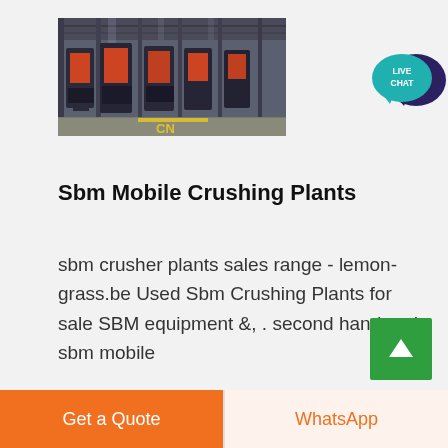[Figure (photo): Interior of an industrial crushing plant facility showing heavy machinery, conveyors and equipment arranged in long rows inside a large warehouse-style building. Yellow 'CN' text visible in lower center.]
[Figure (illustration): Live Chat button icon in teal/cyan color with speech bubble showing 'LIVE CHAT' text, overlapping a dark purple speech bubble.]
Sbm Mobile Crushing Plants
sbm crusher plants sales range - lemon-grass.be Used Sbm Crushing Plants for sale SBM equipment &, . second hand and sbm mobile
[Figure (illustration): Green square scroll-to-top button with white upward arrow icon.]
Get a Quote
WhatsApp